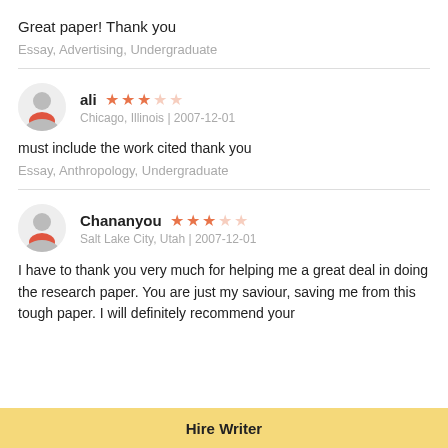Great paper! Thank you
Essay, Advertising, Undergraduate
ali  ★★★☆☆  Chicago, Illinois | 2007-12-01
must include the work cited thank you
Essay, Anthropology, Undergraduate
Chananyou  ★★★☆☆  Salt Lake City, Utah | 2007-12-01
I have to thank you very much for helping me a great deal in doing the research paper. You are just my saviour, saving me from this tough paper. I will definitely recommend your
Hire Writer